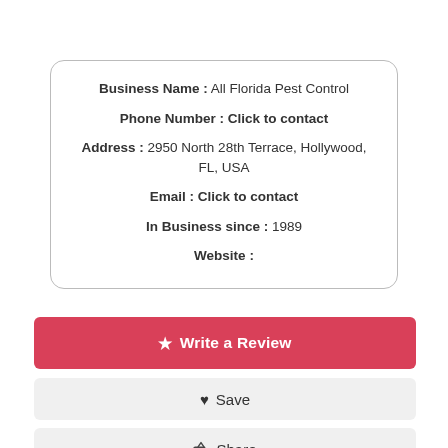Business Name : All Florida Pest Control
Phone Number : Click to contact
Address : 2950 North 28th Terrace, Hollywood, FL, USA
Email : Click to contact
In Business since : 1989
Website :
★ Write a Review
♥ Save
Share